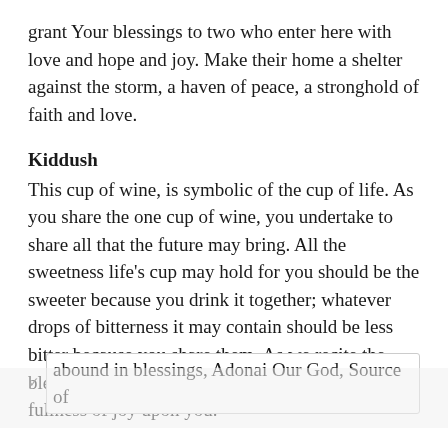grant Your blessings to two who enter here with love and hope and joy. Make their home a shelter against the storm, a haven of peace, a stronghold of faith and love.
Kiddush
This cup of wine, is symbolic of the cup of life. As you share the one cup of wine, you undertake to share all that the future may bring. All the sweetness life's cup may hold for you should be the sweeter because you drink it together; whatever drops of bitterness it may contain should be less bitter because you share them. As we recite the blessing over wine, we pray that God will bestow fullness of joy upon you.
abound in blessings, Adonai Our God, Source of